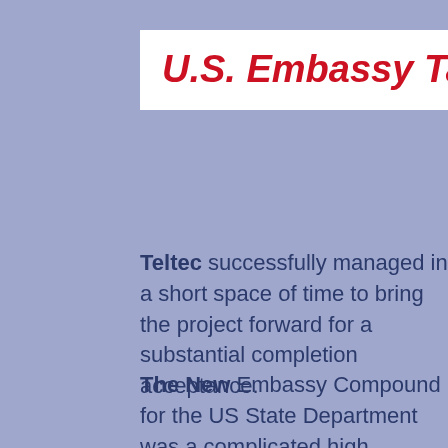U.S. Embassy Ta 'Qali malta
Teltec successfully managed in a short space of time to bring the project forward for a substantial completion acceptance.
The New Embassy Compound for the US State Department was a complicated high security project that had many difficult construction issues to overcome. Teltec Electrical conducted an overseas operation to assist the construction company AICI - Special Projects in every way possible to minimise further delays.
By arranging security clearances, flights, accommodation, transport and documentation, Teltec proved itself to be more than capable of self supervising and managing a project of this magnitude.